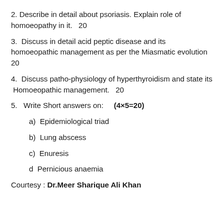2. Describe in detail about psoriasis. Explain role of homoeopathy in it.  20
3.  Discuss in detail acid peptic disease and its homoeopathic management as per the Miasmatic evolution  20
4.  Discuss patho-physiology of hyperthyroidism and state its Homoeopathic management.   20
5.  Write Short answers on:   (4×5=20)
a)  Epidemiological triad
b)  Lung abscess
c)  Enuresis
d  Pernicious anaemia
Courtesy : Dr.Meer Sharique Ali Khan